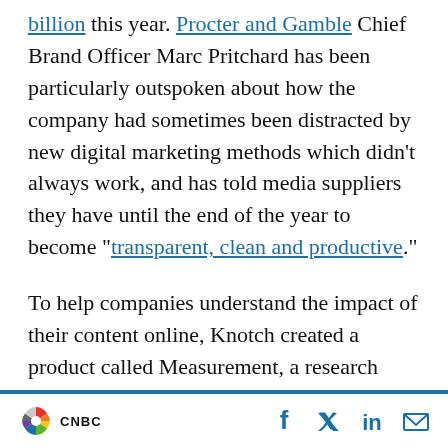billion this year. Procter and Gamble Chief Brand Officer Marc Pritchard has been particularly outspoken about how the company had sometimes been distracted by new digital marketing methods which didn't always work, and has told media suppliers they have until the end of the year to become "transparent, clean and productive."

To help companies understand the impact of their content online, Knotch created a product called Measurement, a research method to understand how people reading articles respond to them, so brands can collect "sentiment data".
CNBC | Social icons: Facebook, Twitter, LinkedIn, Email